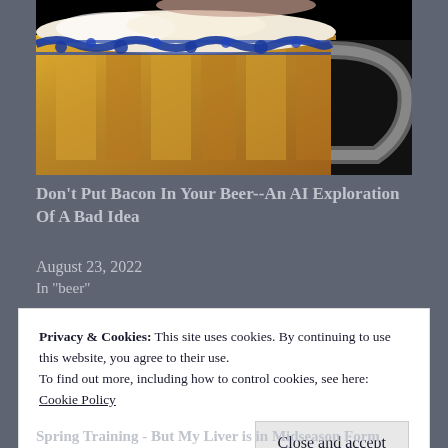[Figure (photo): A glass beer mug with blue and white floral rim decoration, filled with amber beer, against a black background. The mug has a glass handle visible on the right side.]
Don't Put Bacon In Your Beer--An AI Exploration Of A Bad Idea
August 23, 2022
In "beer"
Privacy & Cookies: This site uses cookies. By continuing to use this website, you agree to their use.
To find out more, including how to control cookies, see here:
Cookie Policy
Close and accept
Spring Training - But My Liver is in Midseason Form